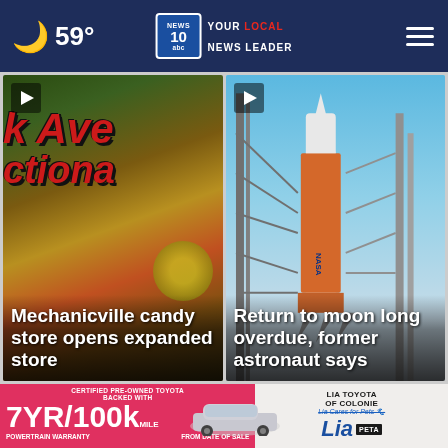59° NEWS 10 YOUR LOCAL NEWS LEADER
[Figure (screenshot): News card: Mechanicville candy store sign with red stylized text 'k Ave' and 'ctiona' visible, with play button overlay]
Mechanicville candy store opens expanded store
[Figure (photo): NASA rocket on launch pad against blue sky, with play button overlay]
Return to moon long overdue, former astronaut says
Top Stories ›
[Figure (infographic): Advertisement banner: Certified Pre-Owned Toyota - 7YR/100k Mile Powertrain Warranty From Date of Sale. Lia Toyota of Colonie, Lia Cares for Pets, Lia, PETA logos]